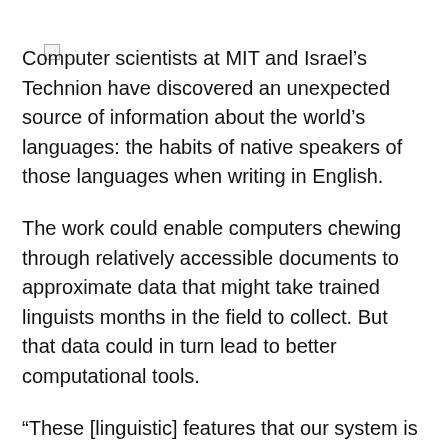[Figure (other): Small checkbox/square icon in top-left corner]
Computer scientists at MIT and Israel's Technion have discovered an unexpected source of information about the world's languages: the habits of native speakers of those languages when writing in English.
The work could enable computers chewing through relatively accessible documents to approximate data that might take trained linguists months in the field to collect. But that data could in turn lead to better computational tools.
“These [linguistic] features that our system is learning are of course, on one hand, of nice theoretical interest for linguists,” says Boris Katz, a